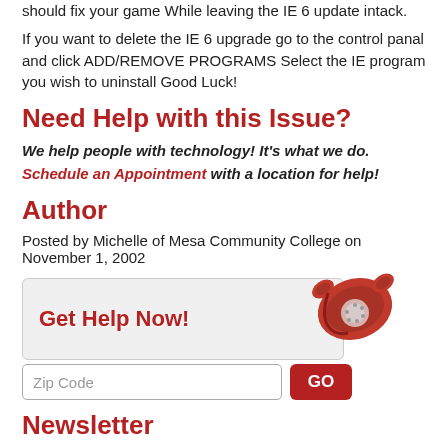should fix your game While leaving the IE 6 update intack.
If you want to delete the IE 6 upgrade go to the control panal and click ADD/REMOVE PROGRAMS Select the IE program you wish to uninstall Good Luck!
Need Help with this Issue?
We help people with technology! It's what we do. Schedule an Appointment with a location for help!
Author
Posted by Michelle of Mesa Community College on November 1, 2002
[Figure (illustration): Get Help Now banner with red rotary telephone graphic and zip code input field with GO button]
Newsletter
Sign up for our newsletter and get free tips and tricks to keep your computer running great!
Start by entering your